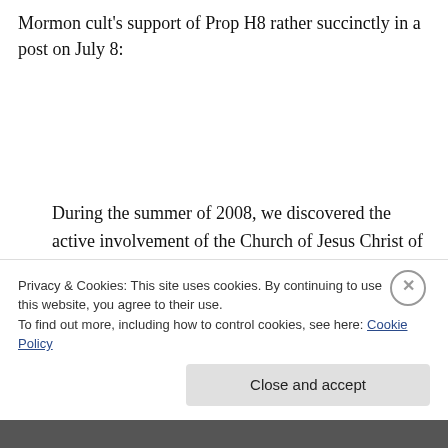Mormon cult's support of Prop H8 rather succinctly in a post on July 8:
During the summer of 2008, we discovered the active involvement of the Church of Jesus Christ of Latter-day Saints (Mormon Church) in Prop 8. The Mormon Church had taken over virtually every aspect of the Yes on 8 campaign.
Privacy & Cookies: This site uses cookies. By continuing to use this website, you agree to their use.
To find out more, including how to control cookies, see here: Cookie Policy